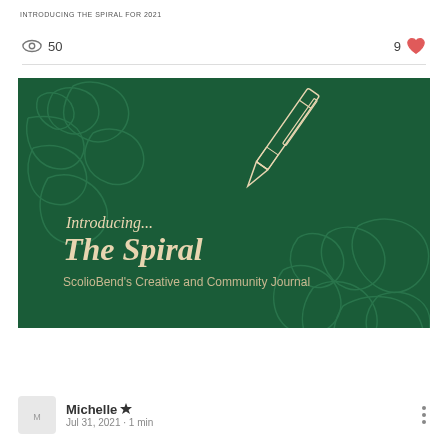INTRODUCING THE SPIRAL FOR 2021
50 views · 9 likes
[Figure (illustration): Dark green square promotional image with decorative spiral/organic line doodles in lighter green. Text reads 'Introducing... The Spiral — ScolioBend's Creative and Community Journal' with an illustrated pen in the upper right.]
Michelle · Jul 31, 2021 · 1 min